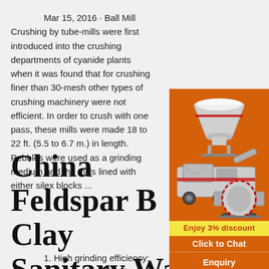Mar 15, 2016 · Ball Mill Crushing by tube-mills were first introduced into the crushing departments of cyanide plants when it was found that for crushing finer than 30-mesh other types of crushing machinery were not efficient. In order to crush with one pass, these mills were made 18 to 22 ft. (5.5 to 6.7 m.) in length. Pebbles were used as a grinding medium and the mills lined with either silex blocks ...
China Feldspar B… Clay Sanitary Wa… Grinding Ball Mi…
1. High grinding efficiency: The 5-20T ball… be selected with frequency conversion speed… and 8 operating speeds can be preset accord… process requirements, which improves the gri… efficiency, saves 20% of energy consumption and reduces costs.
[Figure (illustration): Advertisement sidebar with orange background showing mining/crushing machinery images (cone crusher, mobile crusher, ball mill), a yellow discount bar reading 'Enjoy 3% discount', a 'Click to Chat' button, an Enquiry section, and email limingjlmofen@sina.com]